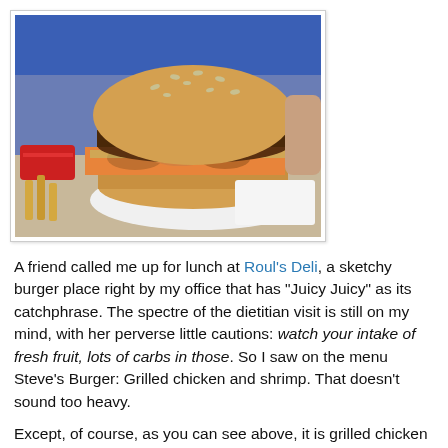[Figure (photo): A large burger with a sesame seed bun, grilled chicken and shrimp visible in the middle, served on a white plate. Ketchup packets and fries visible on the left. Background shows blue wall.]
A friend called me up for lunch at Roul's Deli, a sketchy burger place right by my office that has "Juicy Juicy" as its catchphrase. The spectre of the dietitian visit is still on my mind, with her perverse little cautions: watch your intake of fresh fruit, lots of carbs in those. So I saw on the menu Steve's Burger: Grilled chicken and shrimp. That doesn't sound too heavy.
Except, of course, as you can see above, it is grilled chicken and shrimp ON a juicy juicy burger. A total Man Vs. Food